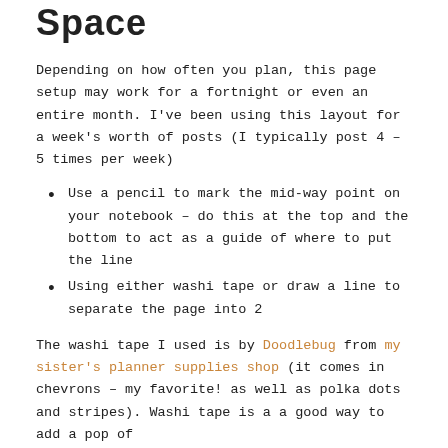Space
Depending on how often you plan, this page setup may work for a fortnight or even an entire month. I've been using this layout for a week's worth of posts (I typically post 4 – 5 times per week)
Use a pencil to mark the mid-way point on your notebook – do this at the top and the bottom to act as a guide of where to put the line
Using either washi tape or draw a line to separate the page into 2
The washi tape I used is by Doodlebug from my sister's planner supplies shop (it comes in chevrons – my favorite! as well as polka dots and stripes). Washi tape is a a good way to add a pop of